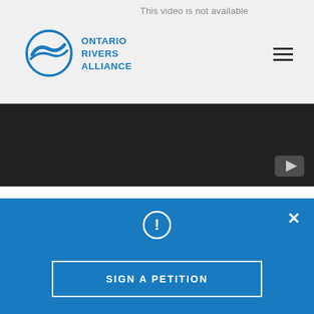This video is not available
[Figure (logo): Ontario Rivers Alliance logo — blue circular wave icon with text ONTARIO RIVERS ALLIANCE]
[Figure (screenshot): Black video player area with YouTube play button icon in bottom-right corner]
Indigenous communities who have fished, hunted, and lived in Ontario's north for generations have a unique understanding of how their environment is changing. Elders pass down environmental knowledge that simply doesn't exist anywhere else. The government and researchers are starting to
[Figure (infographic): Blue banner overlay with alert icon, close X button, and SIGN A PETITION call-to-action button]